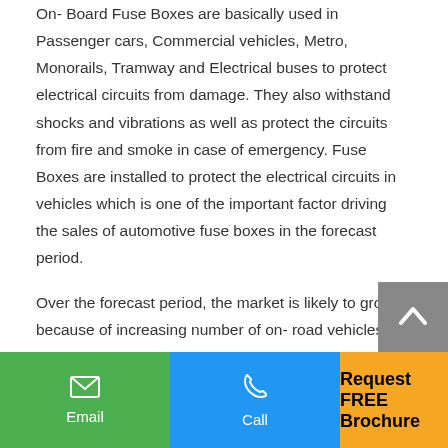On- Board Fuse Boxes are basically used in Passenger cars, Commercial vehicles, Metro, Monorails, Tramway and Electrical buses to protect electrical circuits from damage. They also withstand shocks and vibrations as well as protect the circuits from fire and smoke in case of emergency. Fuse Boxes are installed to protect the electrical circuits in vehicles which is one of the important factor driving the sales of automotive fuse boxes in the forecast period.
Over the forecast period, the market is likely to grow because of increasing number of on- road vehicles and the mandatory installation of fuse boxes in them. Fuse b...
Email | Call | Request FREE Brochure